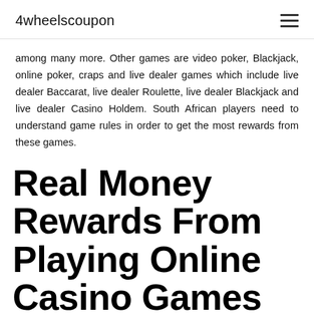4wheelscoupon
among many more. Other games are video poker, Blackjack, online poker, craps and live dealer games which include live dealer Baccarat, live dealer Roulette, live dealer Blackjack and live dealer Casino Holdem. South African players need to understand game rules in order to get the most rewards from these games.
Real Money Rewards From Playing Online Casino Games In SA
Apart from no deposit bonuses, another way players in South Africa can earn money from playing online casino